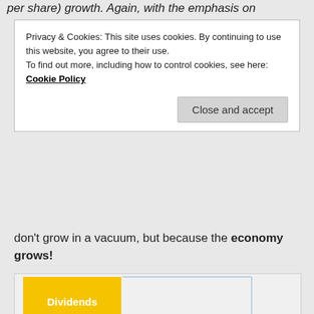per share) growth. Again, with the emphasis on
Privacy & Cookies: This site uses cookies. By continuing to use this website, you agree to their use.
To find out more, including how to control cookies, see here: Cookie Policy
Close and accept
don't grow in a vacuum, but because the economy grows!
[Figure (infographic): Stacked block diagram showing components of S&P500 returns: Dividends (yellow), Multiples Expansion (green), EPS/GDP Expansion (blue/cyan), combined into Real EPS, then Real S&P500 Price Return, then Real S&P500 Total Return, with bracket connectors.]